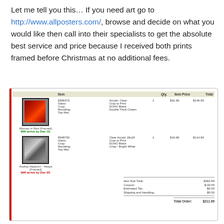Let me tell you this… If you need art go to http://www.allposters.com/, browse and decide on what you would like then call into their specialists to get the absolute best service and price because I received both prints framed before Christmas at no additional fees.
[Figure (screenshot): Screenshot of an allposters.com order receipt showing two framed items: 'Woman in Red (Framed)' for $149.99 and 'Audrey Hepburn - Vespa (Framed)' for $114.99, with subtotal $264.99, coupon -$33.00, tax $0.00, shipping $0.00, total $211.99]